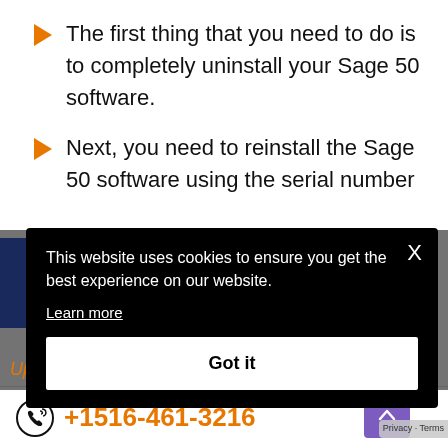The first thing that you need to do is to completely uninstall your Sage 50 software.
Next, you need to reinstall the Sage 50 software using the serial number
[Figure (screenshot): Cookie consent modal overlay on a dark background. Modal contains text 'This website uses cookies to ensure you get the best experience on our website.' with a 'Learn more' link and a 'Got it' button. A close X button is in the top-right corner.]
+1516-461-3216